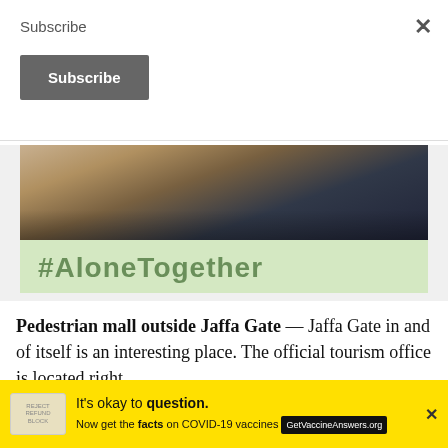Subscribe
Subscribe
[Figure (photo): Photo of a person sitting, partially visible, with #AloneTogether hashtag banner below on a light green background. A small logo appears bottom right.]
Pedestrian mall outside Jaffa Gate — Jaffa Gate in and of itself is an interesting place. The official tourism office is located right
[Figure (infographic): Yellow advertisement banner: It's okay to question. Now get the facts on COVID-19 vaccines. GetVaccineAnswers.org]